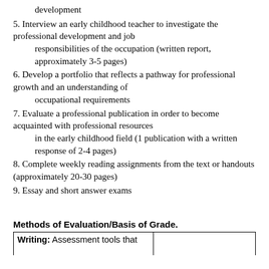development
5. Interview an early childhood teacher to investigate the professional development and job
    responsibilities of the occupation (written report, approximately 3-5 pages)
6. Develop a portfolio that reflects a pathway for professional growth and an understanding of
    occupational requirements
7. Evaluate a professional publication in order to become acquainted with professional resources
    in the early childhood field (1 publication with a written response of 2-4 pages)
8. Complete weekly reading assignments from the text or handouts (approximately 20-30 pages)
9. Essay and short answer exams
Methods of Evaluation/Basis of Grade.
Writing: Assessment tools that